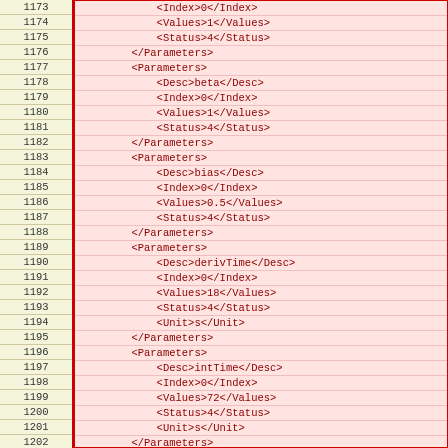| Line | Code |
| --- | --- |
| 1173 |             <Index>0</Index> |
| 1174 |             <Values>1</Values> |
| 1175 |             <Status>4</Status> |
| 1176 |         </Parameters> |
| 1177 |         <Parameters> |
| 1178 |             <Desc>beta</Desc> |
| 1179 |             <Index>0</Index> |
| 1180 |             <Values>1</Values> |
| 1181 |             <Status>4</Status> |
| 1182 |         </Parameters> |
| 1183 |         <Parameters> |
| 1184 |             <Desc>bias</Desc> |
| 1185 |             <Index>0</Index> |
| 1186 |             <Values>0.5</Values> |
| 1187 |             <Status>4</Status> |
| 1188 |         </Parameters> |
| 1189 |         <Parameters> |
| 1190 |             <Desc>derivTime</Desc> |
| 1191 |             <Index>0</Index> |
| 1192 |             <Values>18</Values> |
| 1193 |             <Status>4</Status> |
| 1194 |             <Unit>s</Unit> |
| 1195 |         </Parameters> |
| 1196 |         <Parameters> |
| 1197 |             <Desc>intTime</Desc> |
| 1198 |             <Index>0</Index> |
| 1199 |             <Values>72</Values> |
| 1200 |             <Status>4</Status> |
| 1201 |             <Unit>s</Unit> |
| 1202 |         </Parameters> |
| 1203 |         <Parameters> |
| 1204 |             <Desc>gain</Desc> |